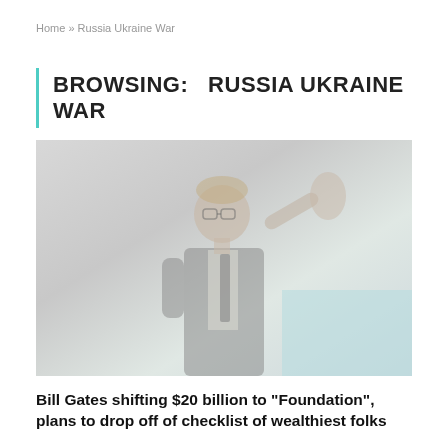Home » Russia Ukraine War
BROWSING:   RUSSIA UKRAINE WAR
[Figure (photo): Faded/washed-out photo of a man in a dark suit and glasses, gesturing with his right hand raised, against a light background with a light blue patch in the lower right.]
Bill Gates shifting $20 billion to "Foundation", plans to drop off of checklist of wealthiest folks